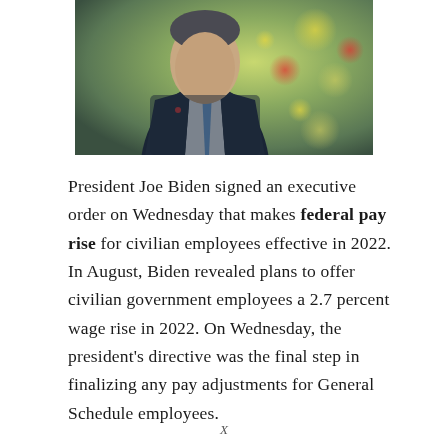[Figure (photo): Photo of President Joe Biden in a dark suit with a blue tie, in front of a Christmas tree with decorations]
President Joe Biden signed an executive order on Wednesday that makes federal pay rise for civilian employees effective in 2022. In August, Biden revealed plans to offer civilian government employees a 2.7 percent wage rise in 2022. On Wednesday, the president's directive was the final step in finalizing any pay adjustments for General Schedule employees.
X